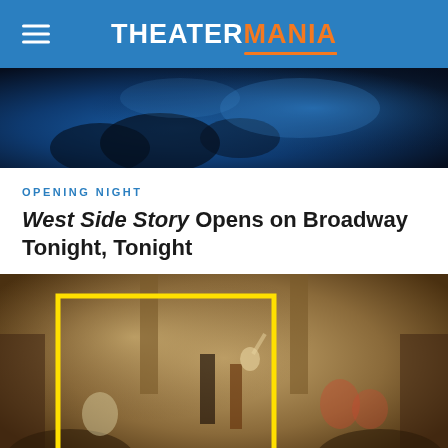THEATERMANIA
[Figure (photo): Dark blue-toned dramatic scene, appears to show figures in a dark environment, used as hero banner image for the article]
OPENING NIGHT
West Side Story Opens on Broadway Tonight, Tonight
[Figure (photo): Historical painting depicting a large formal gathering of men in 18th century attire, possibly the signing of a founding document, with a yellow rectangular border overlay on the image]